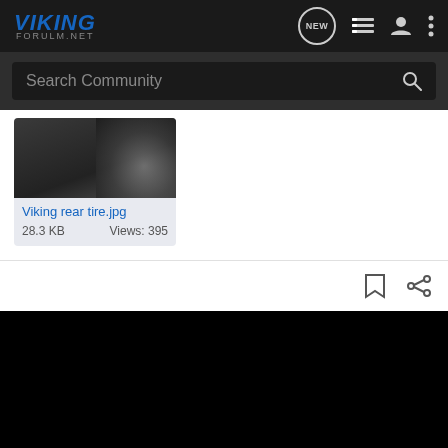VIKING FORULM.NET — navigation bar with NEW, list, profile, and more icons
Search Community
[Figure (photo): Thumbnail preview image of 'Viking rear tire.jpg', partially visible dark/grayscale photo]
Viking rear tire.jpg
28.3 KB    Views: 395
[Figure (photo): Large black rectangle — a dark/black image below the file listing, taking up the bottom portion of the page]